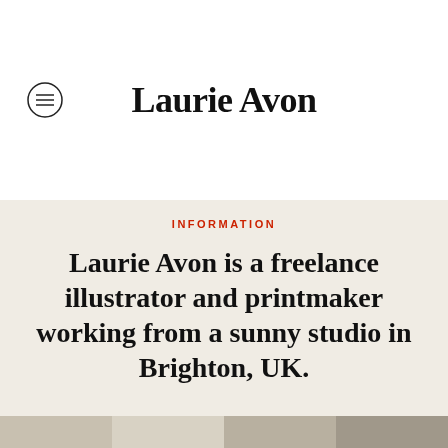Laurie Avon
INFORMATION
Laurie Avon is a freelance illustrator and printmaker working from a sunny studio in Brighton, UK.
[Figure (photo): Photo strip showing partial images of the artist's studio and work at the bottom of the page]